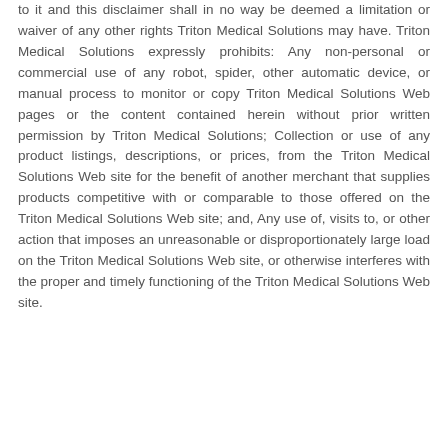to it and this disclaimer shall in no way be deemed a limitation or waiver of any other rights Triton Medical Solutions may have. Triton Medical Solutions expressly prohibits: Any non-personal or commercial use of any robot, spider, other automatic device, or manual process to monitor or copy Triton Medical Solutions Web pages or the content contained herein without prior written permission by Triton Medical Solutions; Collection or use of any product listings, descriptions, or prices, from the Triton Medical Solutions Web site for the benefit of another merchant that supplies products competitive with or comparable to those offered on the Triton Medical Solutions Web site; and, Any use of, visits to, or other action that imposes an unreasonable or disproportionately large load on the Triton Medical Solutions Web site, or otherwise interferes with the proper and timely functioning of the Triton Medical Solutions Web site.